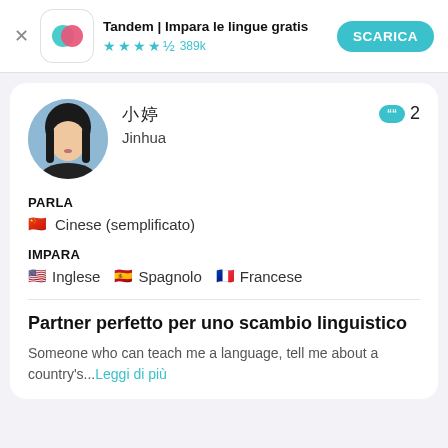Tandem | Impara le lingue gratis ★★★★½ 389k SCARICA
[Figure (screenshot): Tandem app icon with overlapping teal and pink circles on white rounded-square background]
[Figure (photo): Profile photo of a young woman with dark hair]
㊿㊿ Jinhua
2
PARLA
🇨🇳 Cinese (semplificato)
IMPARA
🇺🇸 Inglese   🇪🇸 Spagnolo   🇫🇷 Francese
Partner perfetto per uno scambio linguistico
Someone who can teach me a language, tell me about a country's...Leggi di più